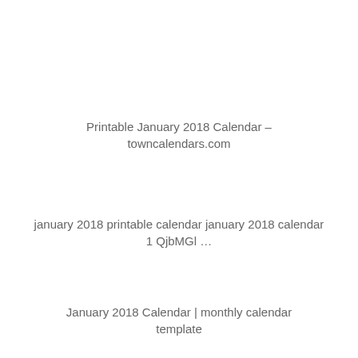Printable January 2018 Calendar – towncalendars.com
january 2018 printable calendar january 2018 calendar 1 QjbMGl …
January 2018 Calendar | monthly calendar template